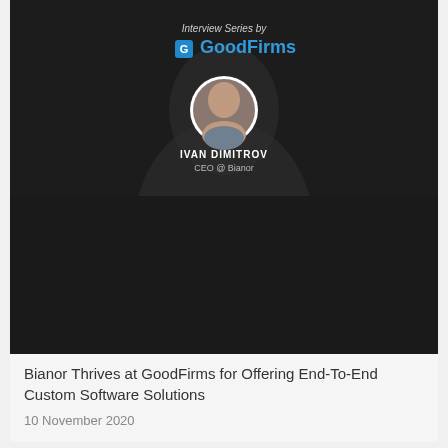[Figure (photo): Laptop with video streaming content displayed on screen]
How to Choose the Optimal Video Streaming Platform
19 November 2020
[Figure (photo): GoodFirms Interview Series banner featuring Ivan Dimitrov, CEO @ Bianor, with circular portrait photo on dark background]
Bianor Thrives at GoodFirms for Offering End-To-End Custom Software Solutions
10 November 2020